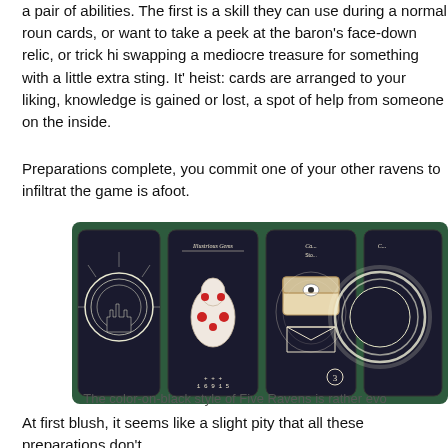a pair of abilities. The first is a skill they can use during a normal round cards, or want to take a peek at the baron's face-down relic, or trick his swapping a mediocre treasure for something with a little extra sting. It's heist: cards are arranged to your liking, knowledge is gained or lost, a spot of help from someone on the inside.
Preparations complete, you commit one of your other ravens to infiltrat the game is afoot.
[Figure (photo): Four dark-themed game cards from Five Ravens on a green background. The leftmost card shows a gothic castle silhouetted against a large moon. The second card labeled 'Illustrious Gems' shows a creature adorned with red gemstone jewelry, with numbers 1 6 9 1 5 at the bottom. The third card shows a decorated chest with an eye design and an envelope below it, with a circled number 3. The fourth card is partially cut off showing a glowing circular design.]
The color-on-black style of Five Ravens is rather evo
At first blush, it seems like a slight pity that all these preparations don't than all that canvassing and card moving determining whether you in